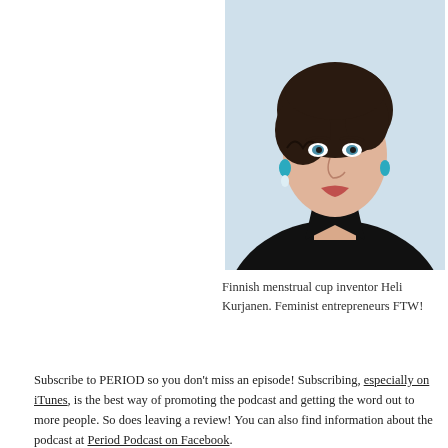[Figure (photo): Portrait photo of Finnish menstrual cup inventor Heli Kurjanen, a woman with short dark curly hair, blue eyes, wearing a black blouse and turquoise/white teardrop earrings, photographed against a light blue-white background.]
Finnish menstrual cup inventor Heli Kurjanen. Feminist entrepreneurs FTW!
Subscribe to PERIOD so you don’t miss an episode! Subscribing, especially on iTunes, is the best way of promoting the podcast and getting the word out to more people. So does leaving a review! You can also find information about the podcast at Period Podcast on Facebook.